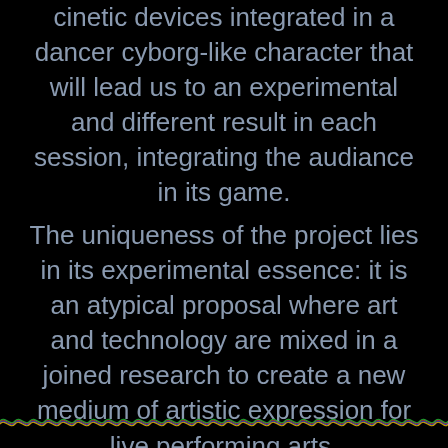cinetic devices integrated in a dancer cyborg-like character that will lead us to an experimental and different result in each session, integrating the audiance in its game.
The uniqueness of the project lies in its experimental essence: it is an atypical proposal where art and technology are mixed in a joined research to create a new medium of artistic expression for live performing arts.
[Figure (other): A colorful waveform line (resembling an audio waveform or signal line) in multicolored strands — red, blue, green, yellow — running horizontally across the bottom of the page against a black background.]